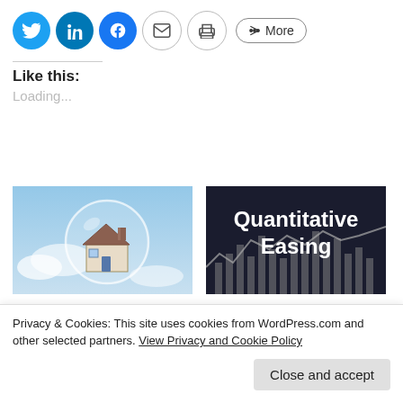[Figure (screenshot): Social sharing buttons: Twitter, LinkedIn, Facebook, Email, Print, and More]
Like this:
Loading...
[Figure (photo): House inside a bubble floating against a blue sky]
[Figure (photo): Dark background image with text 'Quantitative Easing' and a market chart silhouette]
What goes up must
Monetary policy
Privacy & Cookies: This site uses cookies from WordPress.com and other selected partners. View Privacy and Cookie Policy
Close and accept